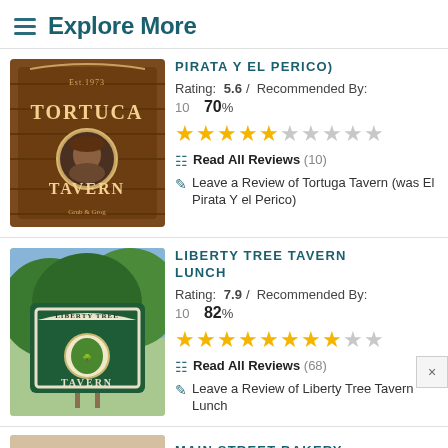≡ Explore More
[Figure (photo): Tortuga Tavern sign photo]
PIRATA Y EL PERICO)
Rating: 5.6 / Recommended By: 10  70%
[Figure (other): 5-star rating: approximately 5.6 out of 10 stars shown]
Read All Reviews (10)
Leave a Review of Tortuga Tavern (was El Pirata Y el Perico)
[Figure (photo): Liberty Tree Tavern sign photo]
LIBERTY TREE TAVERN LUNCH
Rating: 7.9 / Recommended By: 10  82%
[Figure (other): 7.9-star rating: approximately 7.9 out of 10 stars shown]
Read All Reviews (68)
Leave a Review of Liberty Tree Tavern Lunch
[Figure (photo): Main Street Bakery partial photo]
MAIN STREET BAKERY